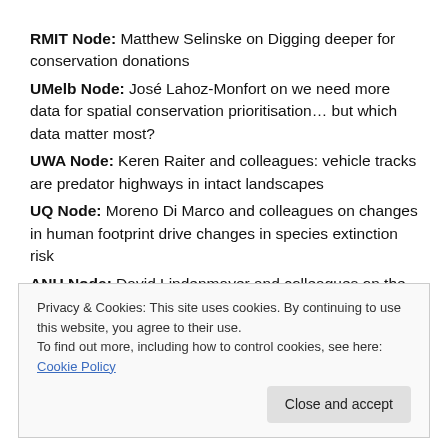RMIT Node: Matthew Selinske on Digging deeper for conservation donations
UMelb Node: José Lahoz-Monfort on we need more data for spatial conservation prioritisation… but which data matter most?
UWA Node: Keren Raiter and colleagues: vehicle tracks are predator highways in intact landscapes
UQ Node: Moreno Di Marco and colleagues on changes in human footprint drive changes in species extinction risk
ANU Node: David Lindenmayer and colleagues on the
Privacy & Cookies: This site uses cookies. By continuing to use this website, you agree to their use. To find out more, including how to control cookies, see here: Cookie Policy